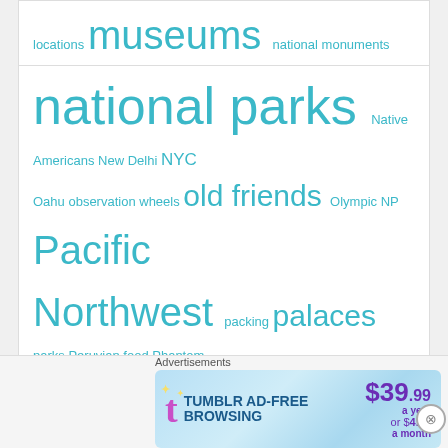locations museums national monuments national parks Native Americans New Delhi NYC Oahu observation wheels old friends Olympic NP Pacific Northwest packing palaces parks Peruvian food Phantom Ranch Ragnar rooftop views running San Francisco seafood small town America snorkeling Sofia Southwest spa experiences state capitals state parks sunrise sunset traditional dance travel by boat travel by bus travel by ferry travel by train travel tips UNESCO Vienna waterfalls West Glacier wildlife wine country Yellowstone NP Zion
Archive
August 2022 (2)
[Figure (screenshot): Tumblr AD-FREE BROWSING advertisement banner: $39.99 a year or $4.99 a month]